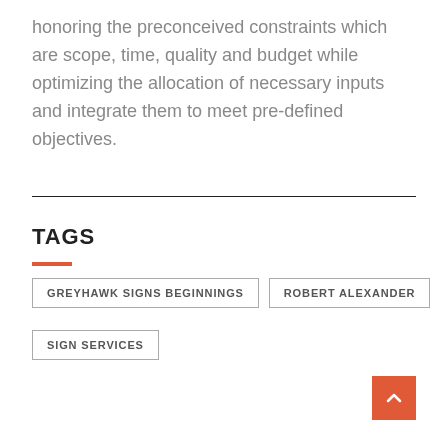honoring the preconceived constraints which are scope, time, quality and budget while optimizing the allocation of necessary inputs and integrate them to meet pre-defined objectives.
TAGS
GREYHAWK SIGNS BEGINNINGS
ROBERT ALEXANDER
SIGN SERVICES